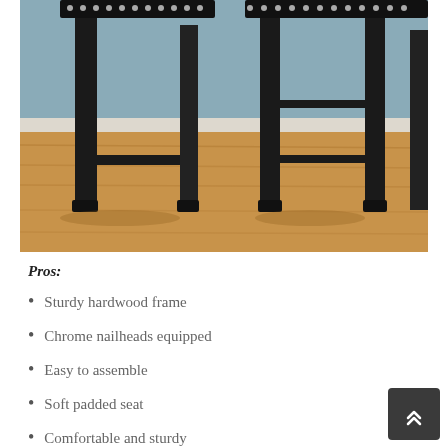[Figure (photo): Close-up photo of two black wooden bar stools with chrome nailhead trim along the top of the cushioned seats, photographed from a low angle showing their legs and stretchers on a wood floor with a light wall in the background.]
Pros:
Sturdy hardwood frame
Chrome nailheads equipped
Easy to assemble
Soft padded seat
Comfortable and sturdy